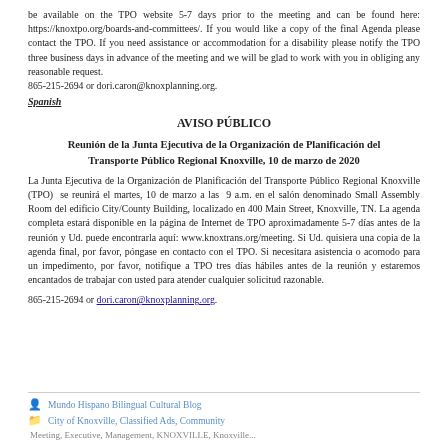be available on the TPO website 5-7 days prior to the meeting and can be found here: https://knoxtpo.org/boards-and-committees/. If you would like a copy of the final Agenda please contact the TPO. If you need assistance or accommodation for a disability please notify the TPO three business days in advance of the meeting and we will be glad to work with you in obliging any reasonable request. 865-215-2694 or dori.caron@knoxplanning.org.
Spanish
AVISO PÚBLICO
Reunión de la Junta Ejecutiva de la Organización de Planificación del Transporte Público Regional Knoxville, 10 de marzo de 2020
La Junta Ejecutiva de la Organización de Planificación del Transporte Público Regional Knoxville (TPO) se reunirá el martes, 10 de marzo a las 9 a.m. en el salón denominado Small Assembly Room del edificio City/County Building, localizado en 400 Main Street, Knoxville, TN. La agenda completa estará disponible en la página de Internet de TPO aproximadamente 5-7 días antes de la reunión y Ud. puede encontrarla aquí: www.knoxtrans.org/meeting. Si Ud. quisiera una copia de la agenda final, por favor, póngase en contacto con el TPO. Si necesitara asistencia o acomodo para un impedimento, por favor, notifique a TPO tres días hábiles antes de la reunión y estaremos encantados de trabajar con usted para atender cualquier solicitud razonable.
865-215-2694 or dori.caron@knoxplanning.org.
Mundo Hispano Bilingual Cultural Blog
City of Knoxville, Classified Ads, Community
Meeting, Executive, Management, KNOXVILLE, Knoxville...